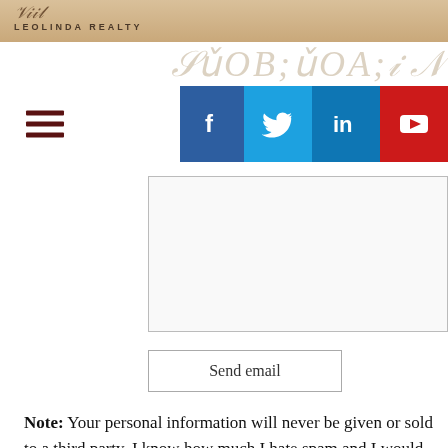LEOLINDA REALTY
[Figure (screenshot): Navigation bar with hamburger menu icon on the left and social media icons (Facebook, Twitter, LinkedIn, YouTube) on the right]
[Figure (screenshot): Large text input area (textarea) for composing an email message]
[Figure (screenshot): Send email button]
Note: Your personal information will never be given or sold to a third party. I know how much I hate spam and I would never subject someone else to more of it. I look forward to hearing from you!